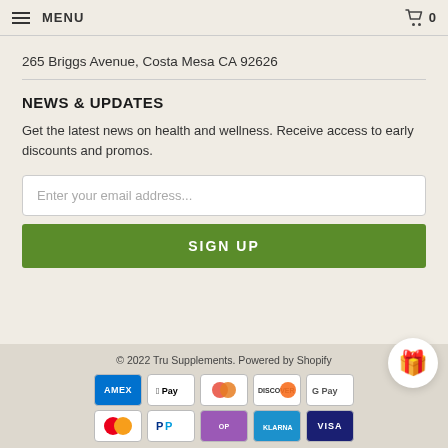MENU  [cart icon] 0
265 Briggs Avenue, Costa Mesa CA 92626
NEWS & UPDATES
Get the latest news on health and wellness. Receive access to early discounts and promos.
Enter your email address...
SIGN UP
© 2022 Tru Supplements. Powered by Shopify
[Figure (other): Payment method icons: American Express, Apple Pay, Diners Club, Discover, Google Pay, Mastercard, PayPal, Shop Pay, Klarna, Visa]